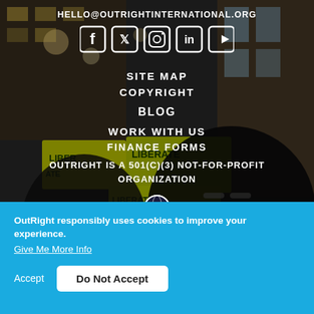HELLO@OUTRIGHTINTERNATIONAL.ORG
[Figure (illustration): Row of social media icons: Facebook, Twitter, Instagram, LinkedIn, YouTube — white icons on dark background]
SITE MAP
COPYRIGHT
BLOG
WORK WITH US
FINANCE FORMS
OUTRIGHT IS A 501(C)(3) NOT-FOR-PROFIT ORGANIZATION
[Figure (illustration): Globe/earth icon in white]
[Figure (photo): Background photo of people at a protest holding yellow LIBERATE signs in an urban setting]
OutRight responsibly uses cookies to improve your experience.
Give Me More Info
Accept
Do Not Accept